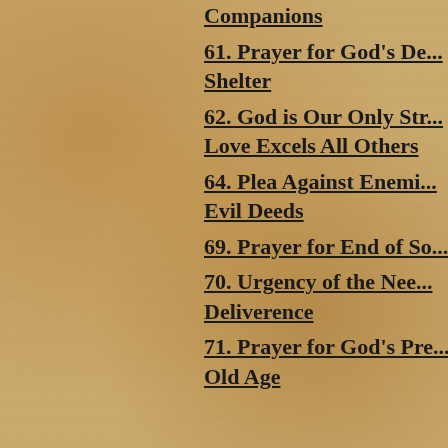Companions
61. Prayer for God's De... Shelter
62. God is Our Only Str... Love Excels All Others
64. Plea Against Enemi... Evil Deeds
69. Prayer for End of So...
70. Urgency of the Nee... Deliverence
71. Prayer for God's Pre... Old Age